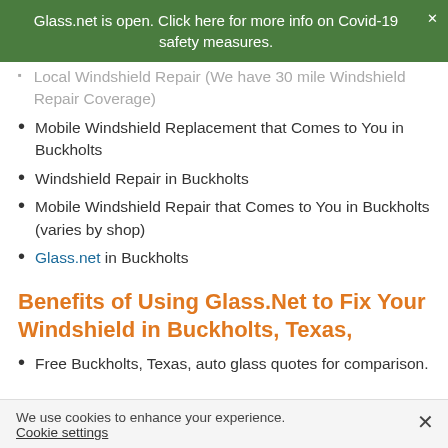Glass.net is open. Click here for more info on Covid-19 safety measures.
Local Windshield Repair (We have 30 mile Windshield Repair Coverage)
Mobile Windshield Replacement that Comes to You in Buckholts
Windshield Repair in Buckholts
Mobile Windshield Repair that Comes to You in Buckholts (varies by shop)
Glass.net in Buckholts
Benefits of Using Glass.Net to Fix Your Windshield in Buckholts, Texas,
Free Buckholts, Texas, auto glass quotes for comparison.
We use cookies to enhance your experience. Cookie settings